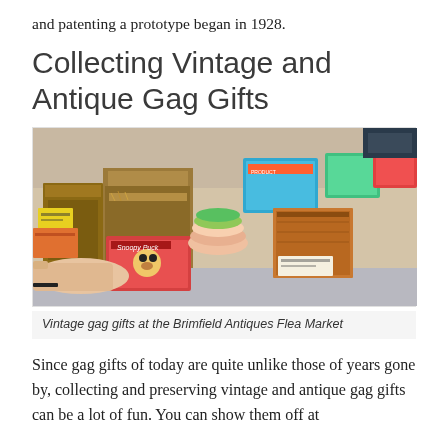and patenting a prototype began in 1928.
Collecting Vintage and Antique Gag Gifts
[Figure (photo): A table covered with vintage gag gifts and boxes at the Brimfield Antiques Flea Market, with a person's hand reaching in from the left.]
Vintage gag gifts at the Brimfield Antiques Flea Market
Since gag gifts of today are quite unlike those of years gone by, collecting and preserving vintage and antique gag gifts can be a lot of fun. You can show them off at